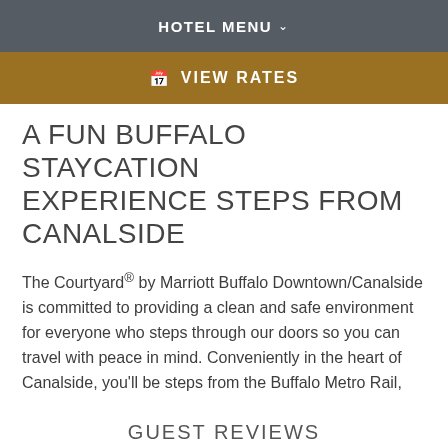HOTEL MENU
VIEW RATES
A FUN BUFFALO STAYCATION EXPERIENCE STEPS FROM CANALSIDE
The Courtyard® by Marriott Buffalo Downtown/Canalside is committed to providing a clean and safe environment for everyone who steps through our doors so you can travel with peace in mind. Conveniently in the heart of Canalside, you'll be steps from the Buffalo Metro Rail,
Show More
GUEST REVIEWS